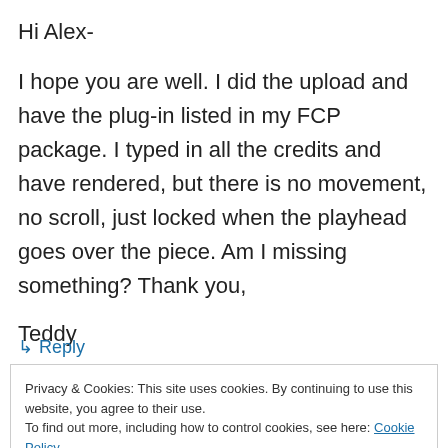Hi Alex-
I hope you are well. I did the upload and have the plug-in listed in my FCP package. I typed in all the credits and have rendered, but there is no movement, no scroll, just locked when the playhead goes over the piece. Am I missing something? Thank you,
Teddy
↳ Reply
Privacy & Cookies: This site uses cookies. By continuing to use this website, you agree to their use.
To find out more, including how to control cookies, see here: Cookie Policy
Close and accept
Cheers, it works great, particularly I would